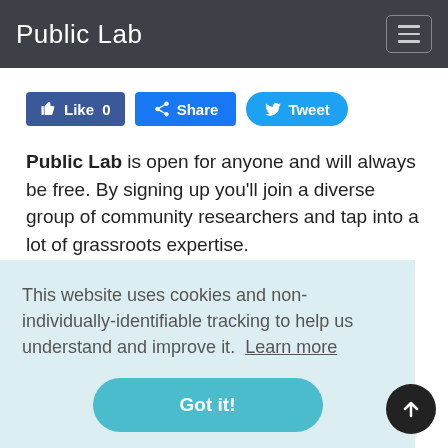Public Lab
[Figure (screenshot): Social sharing buttons: Like 0, Share, Tweet]
Public Lab is open for anyone and will always be free. By signing up you'll join a diverse group of community researchers and tap into a lot of grassroots expertise.
[Figure (screenshot): Sign up button]
This website uses cookies and non-individually-identifiable tracking to help us understand and improve it. Learn more
[Figure (screenshot): Got it! button]